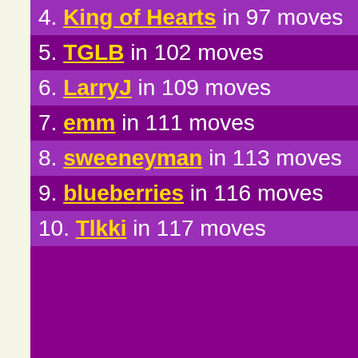4. King of Hearts in 97 moves
5. TGLB in 102 moves
6. LarryJ in 109 moves
7. emm in 111 moves
8. sweeneyman in 113 moves
9. blueberries in 116 moves
10. Tlkki in 117 moves